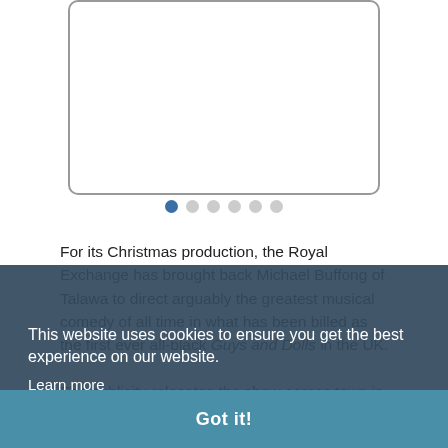[Figure (screenshot): A rounded-rectangle placeholder image box with a gray border, empty white interior, and a row of carousel navigation dots below it — the first dot is dark blue (active), the rest are light gray.]
For its Christmas production, the Royal Exchange has brought back Michael Buffong of Talawa to direct arguably the greatest musical comedy of all time in what has been billed as the first ever all-black Guys and Dolls in the UK.
This website uses cookies to ensure you get the best experience on our website.
Learn more
Got it!
The publicity relocates the show across town in Harlem, even though the script still has references to Broadway and some Yiddish